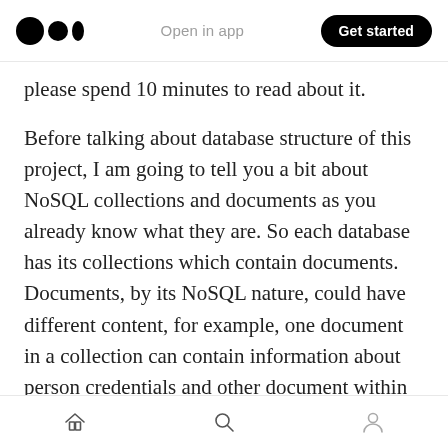Open in app  Get started
please spend 10 minutes to read about it.
Before talking about database structure of this project, I am going to tell you a bit about NoSQL collections and documents as you already know what they are. So each database has its collections which contain documents. Documents, by its NoSQL nature, could have different content, for example, one document in a collection can contain information about person credentials and other document within the same collection could be person’s address information. I don’t